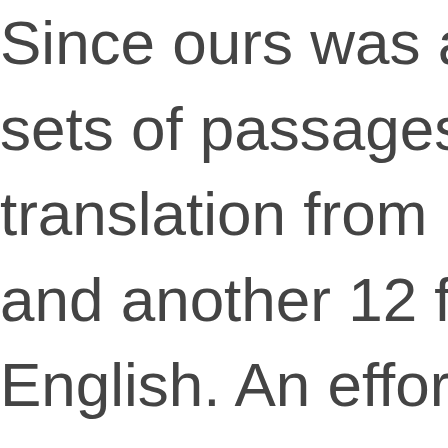Since ours was a six- sets of passages were translation from Eng and another 12 from English. An effort wa wide variety of topics